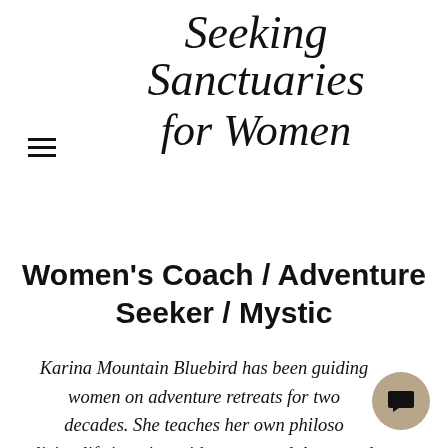Seeking Sanctuaries for Women
Women's Coach / Adventure Seeker / Mystic
Karina Mountain Bluebird has been guiding women on adventure retreats for two decades. She teaches her own philosophy of living life in union with nature and the sacred